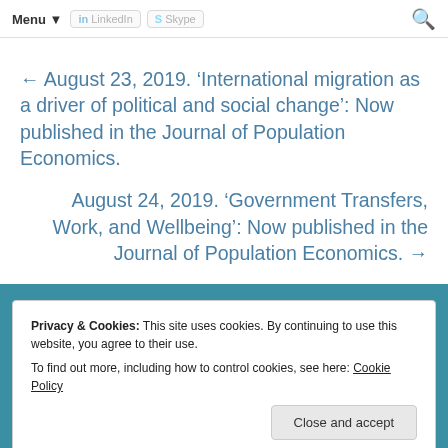Menu ▾  [LinkedIn] [Skype]  🔍
← August 23, 2019. 'International migration as a driver of political and social change': Now published in the Journal of Population Economics.
August 24, 2019. 'Government Transfers, Work, and Wellbeing': Now published in the Journal of Population Economics. →
Privacy & Cookies: This site uses cookies. By continuing to use this website, you agree to their use.
To find out more, including how to control cookies, see here: Cookie Policy
Close and accept
Subscribe to GLO News via Email